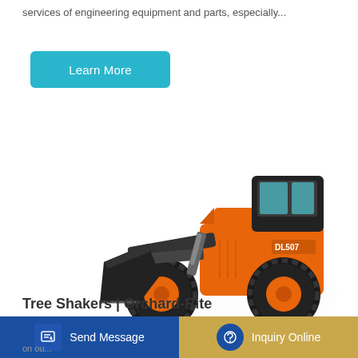services of engineering equipment and parts, especially...
[Figure (other): Blue 'Learn More' button (rounded rectangle, cyan/teal background)]
[Figure (photo): Orange Doosan DL507 wheel loader with front bucket, photographed on white background]
Tree Shakers | Orchard-Rite
[Figure (other): Bottom navigation bar with 'Send Message' button (blue background with document icon) and 'Inquiry Online' button (gold background with headset icon)]
on ou...